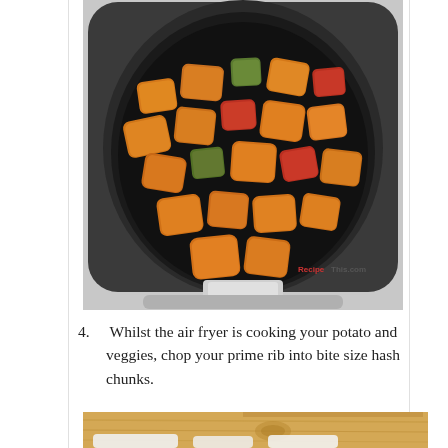[Figure (photo): Air fryer basket containing roasted sweet potato and vegetable chunks with seasoning. The basket has a dark mesh bottom. A watermark reading 'RecipeThis.com' is visible in the bottom right corner.]
4. Whilst the air fryer is cooking your potato and veggies, chop your prime rib into bite size hash chunks.
[Figure (photo): Partial view of a wooden cutting board with what appears to be meat being chopped, visible at the bottom of the page.]